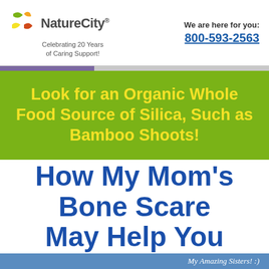NatureCity® | Celebrating 20 Years of Caring Support! | We are here for you: 800-593-2563
Look for an Organic Whole Food Source of Silica, Such as Bamboo Shoots!
How My Mom's Bone Scare May Help You
My Amazing Sisters! :)